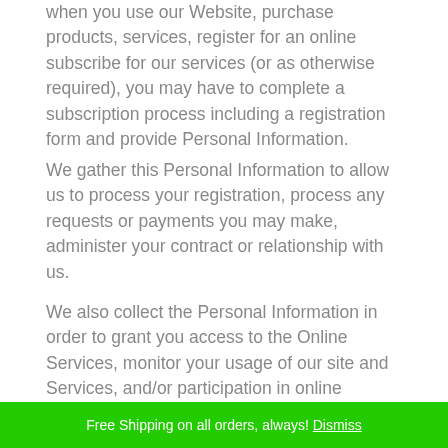when you use our Website, purchase products, services, register for an online subscribe for our services (or as otherwise required), you may have to complete a subscription process including a registration form and provide Personal Information.
We gather this Personal Information to allow us to process your registration, process any requests or payments you may make, administer your contract or relationship with us.
We also collect the Personal Information in order to grant you access to the Online Services, monitor your usage of our site and Services, and/or participation in online activities including reviews, testimonials or
Free Shipping on all orders, always! Dismiss